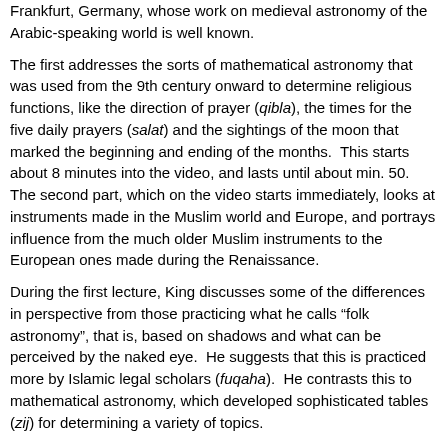Frankfurt, Germany, whose work on medieval astronomy of the Arabic-speaking world is well known.
The first addresses the sorts of mathematical astronomy that was used from the 9th century onward to determine religious functions, like the direction of prayer (qibla), the times for the five daily prayers (salat) and the sightings of the moon that marked the beginning and ending of the months. This starts about 8 minutes into the video, and lasts until about min. 50. The second part, which on the video starts immediately, looks at instruments made in the Muslim world and Europe, and portrays influence from the much older Muslim instruments to the European ones made during the Renaissance.
During the first lecture, King discusses some of the differences in perspective from those practicing what he calls “folk astronomy”, that is, based on shadows and what can be perceived by the naked eye. He suggests that this is practiced more by Islamic legal scholars (fuqaha). He contrasts this to mathematical astronomy, which developed sophisticated tables (zij) for determining a variety of topics.
King notes that in order to facilitate people accessing his materials, he has put it all up on the web at www.davidaking.academia.edu.
The lecture was given on 7 March 2018 in London as part of an Al-Furqān Islamic Heritage Foundation lecture series. He is introduced by Sali Shahsivari and Sara Yamani.
[Figure (other): Footer icons: share, bookmark, and another action icon]